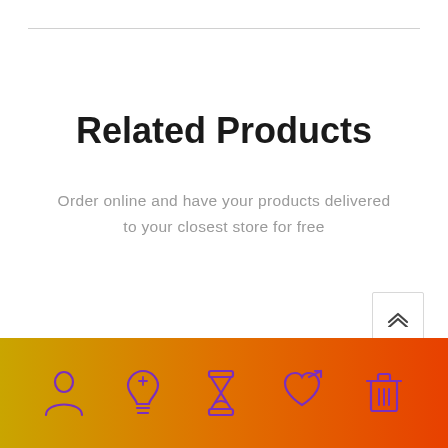Related Products
Order online and have your products delivered to your closest store for free
[Figure (illustration): Scroll-to-top button with double up chevron icon]
[Figure (illustration): Footer bar with gradient background (gold to orange-red) containing five purple outline icons: person/user, lightbulb, hourglass, heart with arrow, trash/bin]